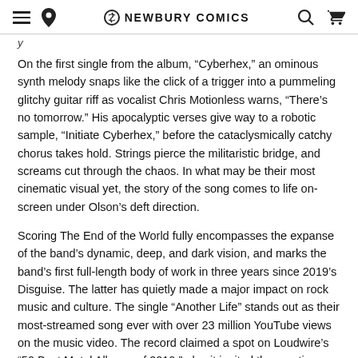NEWBURY COMICS
On the first single from the album, “Cyberhex,” an ominous synth melody snaps like the click of a trigger into a pummeling glitchy guitar riff as vocalist Chris Motionless warns, “There’s no tomorrow.” His apocalyptic verses give way to a robotic sample, “Initiate Cyberhex,” before the cataclysmically catchy chorus takes hold. Strings pierce the militaristic bridge, and screams cut through the chaos. In what may be their most cinematic visual yet, the story of the song comes to life on-screen under Olson’s deft direction.
Scoring The End of the World fully encompasses the expanse of the band’s dynamic, deep, and dark vision, and marks the band’s first full-length body of work in three years since 2019’s Disguise. The latter has quietly made a major impact on rock music and culture. The single “Another Life” stands out as their most-streamed song ever with over 23 million YouTube views on the music video. The record claimed a spot on Loudwire’s “50 Best Metal Albums of 2019,” plus it ignited the creative renaissance that would set the stage for the statement-making Scoring The End of